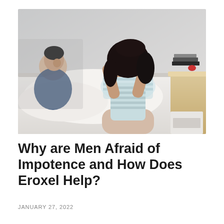[Figure (photo): A woman with long dark hair sits on a bed with her face buried in her hands, wearing a striped top and light pants, hugging her knees. In the background, a man in a dark blue top sits against the wall looking away. White bedding, a wooden bedside table with books and a small lamp are visible. The setting is a bedroom with a light grey wall.]
Why are Men Afraid of Impotence and How Does Eroxel Help?
JANUARY 27, 2022